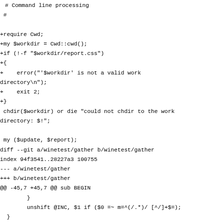# Command line processing
 #

+require Cwd;
+my $workdir = Cwd::cwd();
+if (!-f "$workdir/report.css")
+{
+    error("'$workdir' is not a valid work directory\n");
+    exit 2;
+}
 chdir($workdir) or die "could not chdir to the work directory: $!";

 my ($update, $report);
diff --git a/winetest/gather b/winetest/gather
index 94f3541..28227a3 100755
--- a/winetest/gather
+++ b/winetest/gather
@@ -45,7 +45,7 @@ sub BEGIN
        }
        unshift @INC, $1 if ($0 =~ m=^(/.*)/ [^/]+$=);
  }
-use vars qw/$workdir $gitdir $gitweb/;
+use vars qw/$gitdir $gitweb/;
 require "winetest.conf";

 my $name0=$0;
@@ -76,11 +76,11 @@ sub get_build_info($)
        {